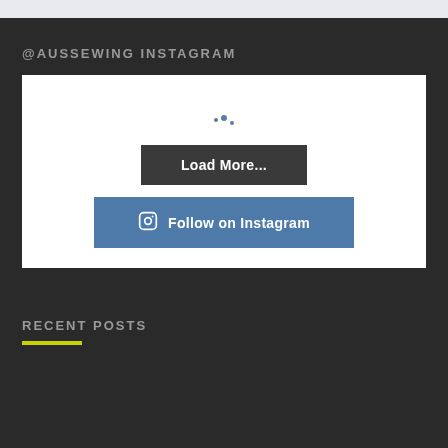@AUSSEWING INSTAGRAM
[Figure (screenshot): Instagram widget with loading spinner dots, a 'Load More...' dark button, and a blue 'Follow on Instagram' button with Instagram icon]
RECENT POSTS